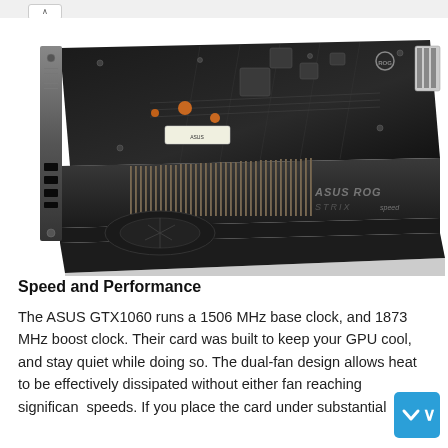[Figure (photo): ASUS ROG Strix GTX 1060 graphics card shown from a top-side angle, revealing the backplate with ROG logo, PCB components, heatsink fins, and power connector on a white background.]
Speed and Performance
The ASUS GTX1060 runs a 1506 MHz base clock, and 1873 MHz boost clock. Their card was built to keep your GPU cool, and stay quiet while doing so. The dual-fan design allows heat to be effectively dissipated without either fan reaching significant speeds. If you place the card under substantial